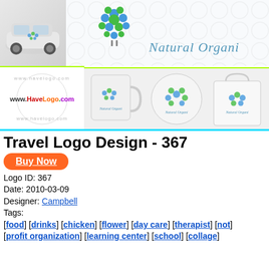[Figure (illustration): Banner showing travel logo design mockups: car with logo on left, blue/green organic bird logo and 'Natural Organi' text in center-top, www.HaveLogo.com watermark on bottom-left, three product mockups (mug, round tin, bag) on bottom-right]
Travel Logo Design - 367
Buy Now
Logo ID: 367
Date: 2010-03-09
Designer: Campbell
Tags:
[food] [drinks] [chicken] [flower] [day care] [therapist] [not] [profit organization] [learning center] [school] [collage]